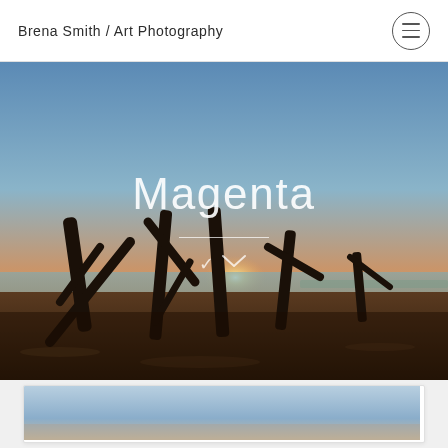Brena Smith / Art Photography
[Figure (photo): Full-width hero photograph of a beach at sunset with driftwood silhouettes against an orange and blue sky, with the text 'Magenta' overlaid in large white thin font, a short white horizontal line, and a white chevron pointing downward]
[Figure (photo): Partial view of a framed photograph showing a blue sky, inside a white card/frame, at the bottom of the page]